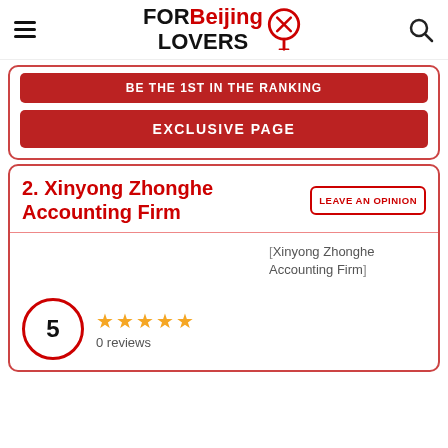FOR Beijing LOVERS
BE THE 1ST IN THE RANKING
EXCLUSIVE PAGE
2. Xinyong Zhonghe Accounting Firm
LEAVE AN OPINION
5 ★★★★★ 0 reviews
[Figure (other): Xinyong Zhonghe Accounting Firm listing image placeholder]